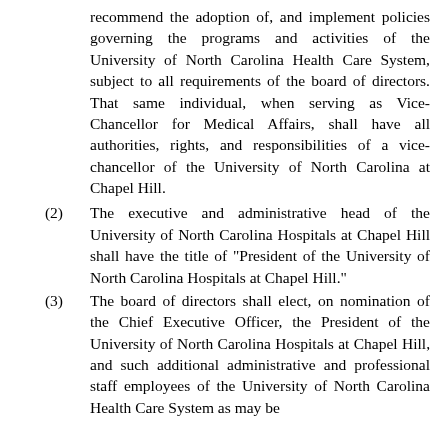recommend the adoption of, and implement policies governing the programs and activities of the University of North Carolina Health Care System, subject to all requirements of the board of directors. That same individual, when serving as Vice-Chancellor for Medical Affairs, shall have all authorities, rights, and responsibilities of a vice-chancellor of the University of North Carolina at Chapel Hill.
(2) The executive and administrative head of the University of North Carolina Hospitals at Chapel Hill shall have the title of "President of the University of North Carolina Hospitals at Chapel Hill."
(3) The board of directors shall elect, on nomination of the Chief Executive Officer, the President of the University of North Carolina Hospitals at Chapel Hill, and such additional administrative and professional staff employees of the University of North Carolina Health Care System as may be